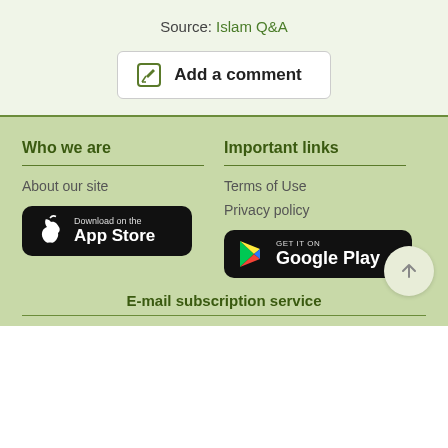Source: Islam Q&A
[Figure (screenshot): Add a comment button with edit icon]
Who we are
About our site
[Figure (logo): Download on the App Store button]
Important links
Terms of Use
Privacy policy
[Figure (logo): Get it on Google Play button]
E-mail subscription service